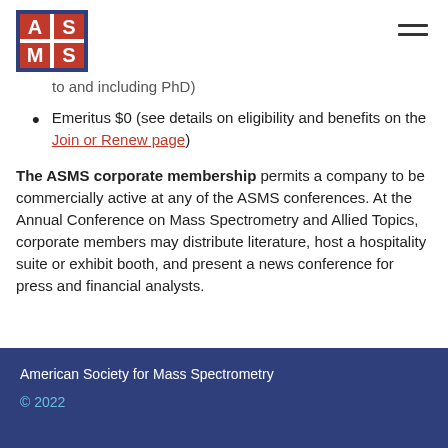[Figure (logo): ASMS logo — red square with white letters A, S, M, S in a 2x2 grid with blue border]
to and including PhD)
Emeritus $0 (see details on eligibility and benefits on the Join or Renew page)
The ASMS corporate membership permits a company to be commercially active at any of the ASMS conferences. At the Annual Conference on Mass Spectrometry and Allied Topics, corporate members may distribute literature, host a hospitality suite or exhibit booth, and present a news conference for press and financial analysts.
American Society for Mass Spectrometry
© 2022